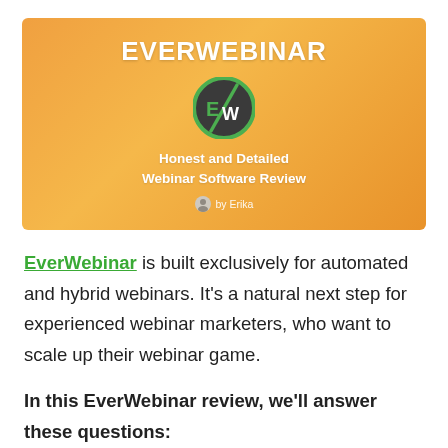[Figure (illustration): EverWebinar promotional banner with orange gradient background, EW logo circle, title 'EVERWEBINAR', subtitle 'Honest and Detailed Webinar Software Review', and author attribution]
EverWebinar is built exclusively for automated and hybrid webinars. It's a natural next step for experienced webinar marketers, who want to scale up their webinar game.
In this EverWebinar review, we'll answer these questions: